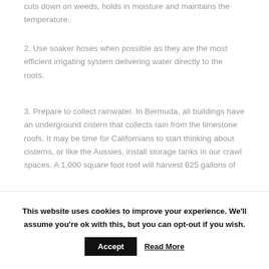cuts down on weeds, holds in moisture and maintains the temperature.
2. Use soaker hoses when possible as they are the most efficient irrigating system delivering water directly to the roots.
3. Prepare to collect rainwater. In Bermuda, all buildings have an underground cistern that collects rain from the limestone roofs. It may be time for Californians to start thinking about cisterns, or like the Aussies, install storage tanks in our crawl spaces. A 1,000 square foot roof will harvest 625 gallons of
This website uses cookies to improve your experience. We'll assume you're ok with this, but you can opt-out if you wish. Accept Read More